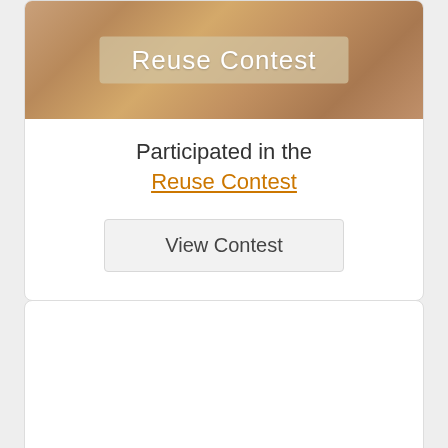[Figure (illustration): Banner image for the Reuse Contest showing crafting/sewing items with text 'Reuse Contest' on a tan/brown background]
Participated in the
Reuse Contest
View Contest
[Figure (other): Empty white card section at the bottom of the page]